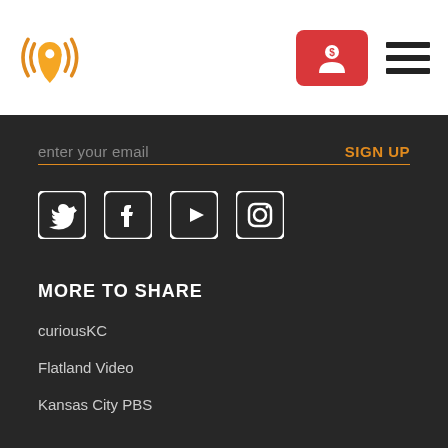[Figure (logo): Orange location pin with radio waves logo and navigation icons]
enter your email
SIGN UP
[Figure (illustration): Social media icons: Twitter, Facebook, YouTube, Instagram]
MORE TO SHARE
curiousKC
Flatland Video
Kansas City PBS